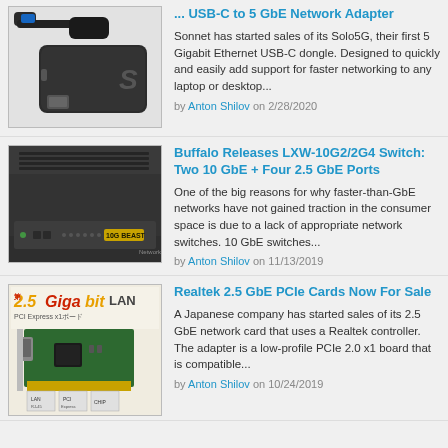[Figure (photo): USB-C to 5 GbE network adapter dongle with USB cable on white background]
... USB-C to 5 GbE Network Adapter
Sonnet has started sales of its Solo5G, their first 5 Gigabit Ethernet USB-C dongle. Designed to quickly and easily add support for faster networking to any laptop or desktop...
by Anton Shilov on 2/28/2020
[Figure (photo): Buffalo LXW-10G2/2G4 network switch, black box with ports on front]
Buffalo Releases LXW-10G2/2G4 Switch: Two 10 GbE + Four 2.5 GbE Ports
One of the big reasons for why faster-than-GbE networks have not gained traction in the consumer space is due to a lack of appropriate network switches. 10 GbE switches...
by Anton Shilov on 11/13/2019
[Figure (photo): 2.5 Gigabit LAN PCIe network card with green circuit board]
Realtek 2.5 GbE PCIe Cards Now For Sale
A Japanese company has started sales of its 2.5 GbE network card that uses a Realtek controller. The adapter is a low-profile PCIe 2.0 x1 board that is compatible...
by Anton Shilov on 10/24/2019